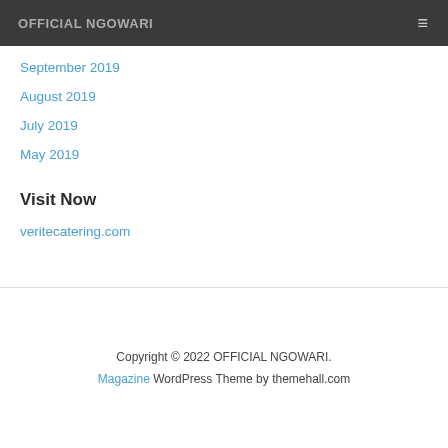OFFICIAL NGOWARI
September 2019
August 2019
July 2019
May 2019
Visit Now
veritecatering.com
Copyright © 2022 OFFICIAL NGOWARI.
Magazine WordPress Theme by themehall.com